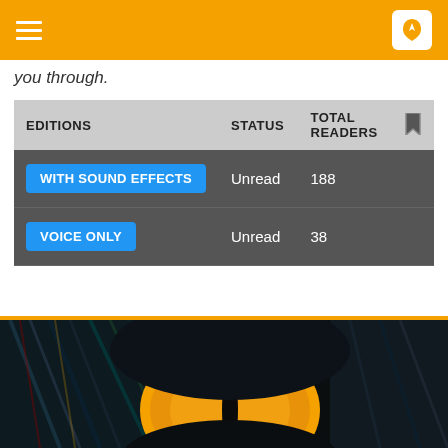you through.
| EDITIONS | STATUS | TOTAL READERS |  |
| --- | --- | --- | --- |
| WITH SOUND EFFECTS | Unread | 188 |  |
| VOICE ONLY | Unread | 38 |  |
[Figure (photo): Close-up macro photograph of a cat's eye with a vivid orange/amber iris and a vertical slit pupil, set against dark black fur with multicolored iridescent highlights.]